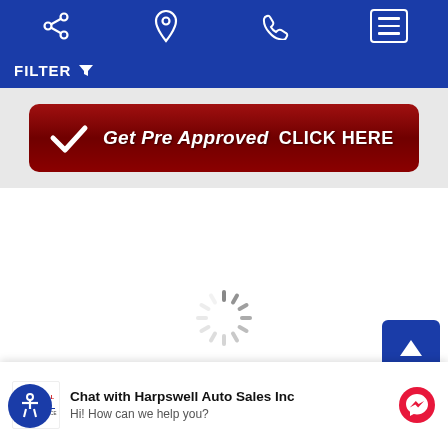[Figure (screenshot): Mobile website navigation bar with share, location, phone, and hamburger menu icons on a dark blue background]
FILTER
[Figure (screenshot): Red button with white checkmark and text: Get Pre Approved CLICK HERE]
[Figure (screenshot): Loading spinner indicating content is loading]
[Figure (screenshot): Blue scroll-to-top button with upward arrow]
Chat with Harpswell Auto Sales Inc
Hi! How can we help you?